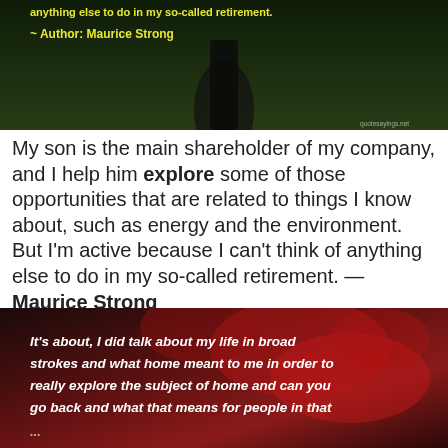[Figure (photo): Dark background image with grass and a golf club or stick on the ground, with yellow text overlay showing a quote and 'Author: Maurice Strong', watermark 'quotesayings.net' in bottom right]
My son is the main shareholder of my company, and I help him explore some of those opportunities that are related to things I know about, such as energy and the environment. But I'm active because I can't think of anything else to do in my so-called retirement. — Maurice Strong
[Figure (photo): Dark image with a red rose in the background and white bold italic text overlay: 'It's about, I did talk about my life in broad strokes and what home meant to me in order to really explore the subject of home and can you go back and what that means for people in that']